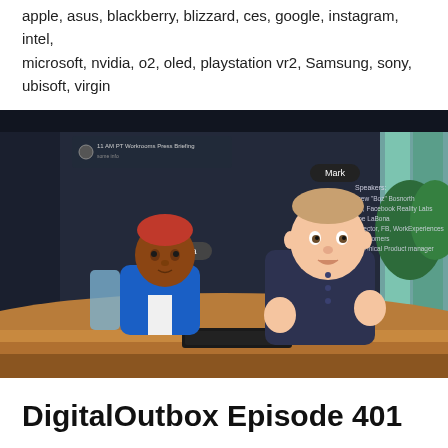apple, asus, blackberry, blizzard, ces, google, instagram, intel, microsoft, nvidia, o2, oled, playstation vr2, Samsung, sony, ubisoft, virgin
[Figure (screenshot): Screenshot of a metaverse/VR virtual meeting room showing two animated avatars seated at a table. One avatar labeled 'Desiona' on the left wears a blue jacket, another labeled 'Mark' on the right wears a dark shirt. A whiteboard in the background lists speakers including Andrew 'Boz' Bosworth VP Facebook Reality Labs, Joe LaBona Director FB Work Experiences, Jeff Somers Technical Product Manager. A calendar event shows '11 AM PT Workrooms Press Briefing'.]
DigitalOutbox Episode 401